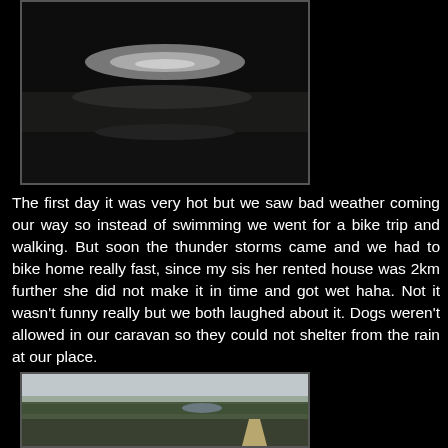[Figure (photo): Dark landscape photo showing a small body of water or reflective surface in a dark moorland or field setting, taken in low light or overcast conditions.]
The first day it was very hot but we saw bad weather coming our way so instead of swimming we went for a bike trip and walking. But soon the thunder storms came and we had to bike home really fast, since my sis her rented house was 2km further she did not make it in time and got wet haha. Not it wasn't funny really but we both laughed about it. Dogs weren't allowed in our caravan so they could not shelter from the rain at our place.
[Figure (photo): Landscape photo taken from an elevated position showing overcast grey sky, a wide heathland or moorland vista with trees and bushes, a small lake or pond visible in the distance, and a path or road in the lower right.]